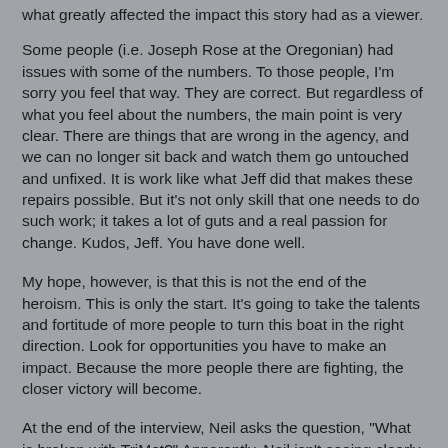what greatly affected the impact this story had as a viewer.
Some people (i.e. Joseph Rose at the Oregonian) had issues with some of the numbers. To those people, I'm sorry you feel that way. They are correct. But regardless of what you feel about the numbers, the main point is very clear. There are things that are wrong in the agency, and we can no longer sit back and watch them go untouched and unfixed. It is work like what Jeff did that makes these repairs possible. But it's not only skill that one needs to do such work; it takes a lot of guts and a real passion for change. Kudos, Jeff. You have done well.
My hope, however, is that this is not the end of the heroism. This is only the start. It's going to take the talents and fortitude of more people to turn this boat in the right direction. Look for opportunities you have to make an impact. Because the more people there are fighting, the closer victory will become.
At the end of the interview, Neil asks the question, "What is broken with TriMet?" Apparently, Neil isn't seeing clearly. He isn't seeing it from the viewpoint of the rider, who in reality, is